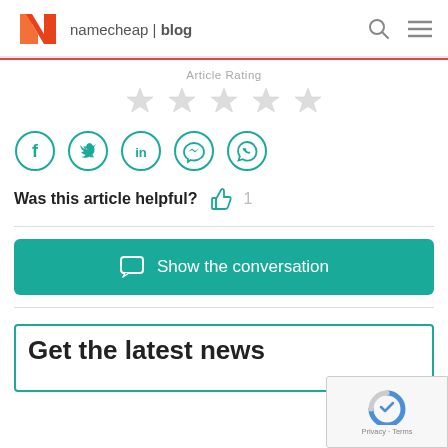namecheap | blog
Article Rating
[Figure (illustration): Five gray star icons for article rating]
[Figure (illustration): Social share icons: Facebook, Twitter, LinkedIn, Messenger, WhatsApp (teal circle outlines)]
Was this article helpful? 1
[Figure (illustration): Show the conversation button with chat icon]
Get the latest news